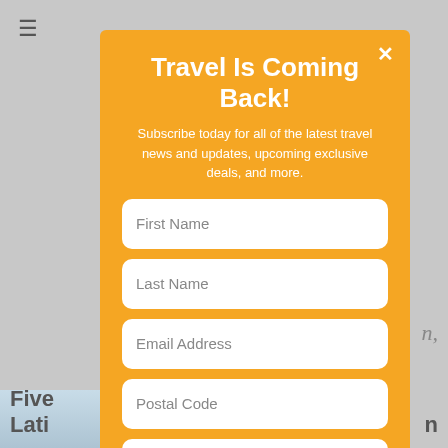[Figure (screenshot): Background of a website page with a hamburger menu icon, gray background, italic text reading 'n,' on the right, a blue-tinted building image at bottom left, and bold text 'Five Lati' at bottom left corner]
Travel Is Coming Back!
Subscribe today for all of the latest travel news and updates, upcoming exclusive deals, and more.
First Name
Last Name
Email Address
Postal Code
Select a Country
What Best Describes You?
Travel Agent
Travel Supplier
Traveler